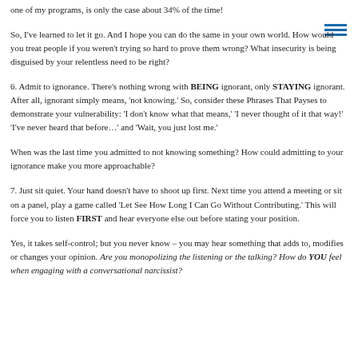one of my programs, is only the case about 34% of the time!
So, I've learned to let it go. And I hope you can do the same in your own world. How would you treat people if you weren't trying so hard to prove them wrong? What insecurity is being disguised by your relentless need to be right?
6. Admit to ignorance. There's nothing wrong with BEING ignorant, only STAYING ignorant. After all, ignorant simply means, 'not knowing.' So, consider these Phrases That Payses to demonstrate your vulnerability: 'I don't know what that means,' 'I never thought of it that way!' 'I've never heard that before…' and 'Wait, you just lost me.'
When was the last time you admitted to not knowing something? How could admitting to your ignorance make you more approachable?
7. Just sit quiet. Your hand doesn't have to shoot up first. Next time you attend a meeting or sit on a panel, play a game called 'Let See How Long I Can Go Without Contributing.' This will force you to listen FIRST and hear everyone else out before stating your position.
Yes, it takes self-control; but you never know – you may hear something that adds to, modifies or changes your opinion. Are you monopolizing the listening or the talking? How do YOU feel when engaging with a conversational narcissist?